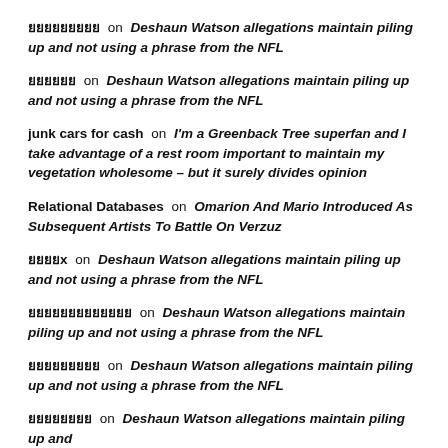ยยยยยยยยย on Deshaun Watson allegations maintain piling up and not using a phrase from the NFL
ยยยยยย on Deshaun Watson allegations maintain piling up and not using a phrase from the NFL
junk cars for cash on I'm a Greenback Tree superfan and I take advantage of a rest room important to maintain my vegetation wholesome – but it surely divides opinion
Relational Databases on Omarion And Mario Introduced As Subsequent Artists To Battle On Verzuz
ยยยยx on Deshaun Watson allegations maintain piling up and not using a phrase from the NFL
ยยยยยยยยยยยยย on Deshaun Watson allegations maintain piling up and not using a phrase from the NFL
ยยยยยยยยย on Deshaun Watson allegations maintain piling up and not using a phrase from the NFL
ยยยยยยยย on Deshaun Watson allegations maintain piling up and